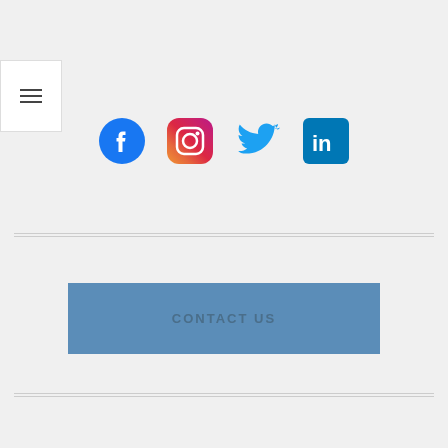[Figure (other): Hamburger menu button (three horizontal lines) in a white box]
[Figure (other): Row of four social media icons: Facebook (blue circle with f), Instagram (pink/purple camera outline), Twitter (blue bird), LinkedIn (blue square with in)]
CONTACT US
[Figure (other): Blue button labeled CONTACT US]